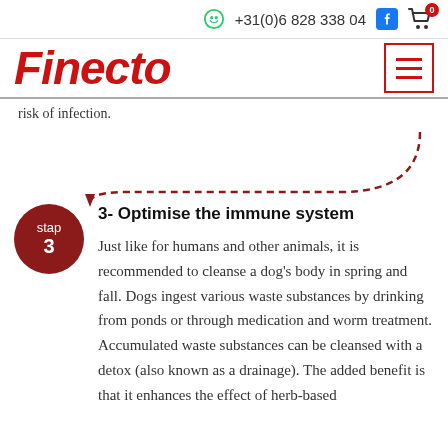+31(0)6 828 338 04
Finecto
risk of infection.
3- Optimise the immune system
Just like for humans and other animals, it is recommended to cleanse a dog's body in spring and fall. Dogs ingest various waste substances by drinking from ponds or through medication and worm treatment. Accumulated waste substances can be cleansed with a detox (also known as a drainage). The added benefit is that it enhances the effect of herb-based